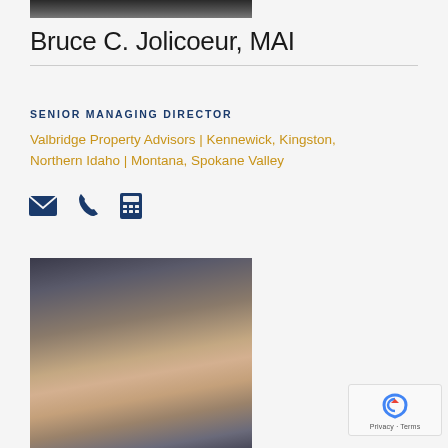[Figure (photo): Partial photo of Bruce C. Jolicoeur at top of page, cropped showing only bottom portion]
Bruce C. Jolicoeur, MAI
SENIOR MANAGING DIRECTOR
Valbridge Property Advisors | Kennewick, Kingston, Northern Idaho | Montana, Spokane Valley
[Figure (infographic): Contact icons: envelope (email), phone, and fax/calculator]
[Figure (photo): Professional headshot of a woman with curly brown hair, smiling]
[Figure (other): reCAPTCHA widget showing Privacy - Terms text]